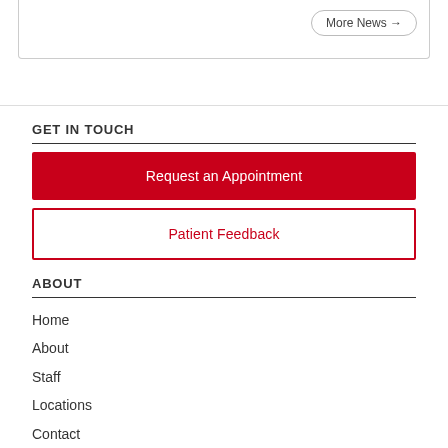More News →
GET IN TOUCH
Request an Appointment
Patient Feedback
ABOUT
Home
About
Staff
Locations
Contact
QUICK LINKS